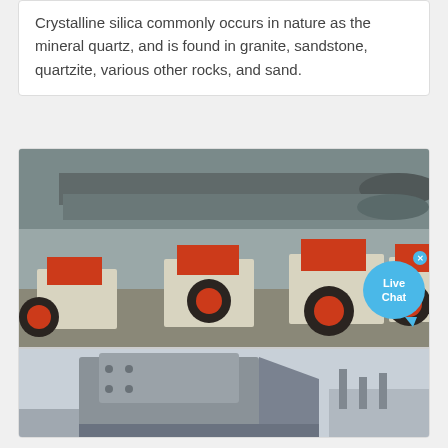Crystalline silica commonly occurs in nature as the mineral quartz, and is found in granite, sandstone, quartzite, various other rocks, and sand.
[Figure (photo): Industrial hammer crushers with red wheels and cream-colored bodies arranged in a row on a worksite, with large cylindrical equipment visible in the background. A 'Live Chat' speech bubble overlay appears in the upper right.]
[Figure (photo): Close-up view of a large gray industrial crushing machine on a worksite, showing the machine's body and support structure.]